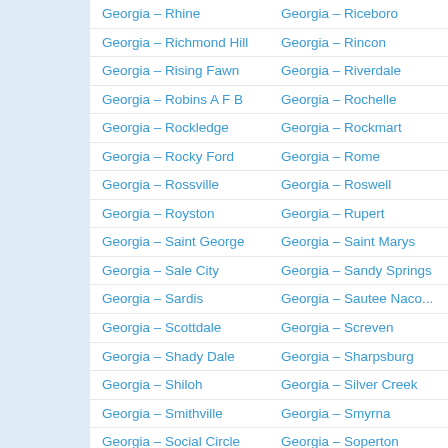Georgia – Rhine
Georgia – Riceboro
Georgia – Richmond Hill
Georgia – Rincon
Georgia – Rising Fawn
Georgia – Riverdale
Georgia – Robins A F B
Georgia – Rochelle
Georgia – Rockledge
Georgia – Rockmart
Georgia – Rocky Ford
Georgia – Rome
Georgia – Rossville
Georgia – Roswell
Georgia – Royston
Georgia – Rupert
Georgia – Saint George
Georgia – Saint Marys
Georgia – Sale City
Georgia – Sandy Springs
Georgia – Sardis
Georgia – Sautee Nacoochee
Georgia – Scottdale
Georgia – Screven
Georgia – Shady Dale
Georgia – Sharpsburg
Georgia – Shiloh
Georgia – Silver Creek
Georgia – Smithville
Georgia – Smyrna
Georgia – Social Circle
Georgia – Soperton